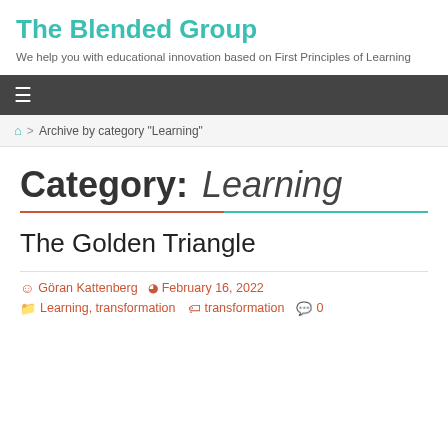The Blended Group
We help you with educational innovation based on First Principles of Learning
≡
🏠 > Archive by category "Learning"
Category: Learning
The Golden Triangle
Göran Kattenberg  February 16, 2022
Learning, transformation  transformation  0